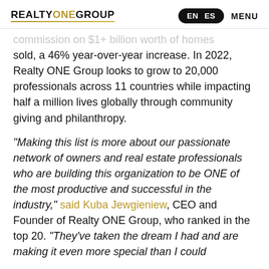REALTY ONE GROUP | EN ES | MENU
commission on $1+ billion worth of homes sold, a 46% year-over-year increase. In 2022, Realty ONE Group looks to grow to 20,000 professionals across 11 countries while impacting half a million lives globally through community giving and philanthropy.
"Making this list is more about our passionate network of owners and real estate professionals who are building this organization to be ONE of the most productive and successful in the industry," said Kuba Jewgieniew, CEO and Founder of Realty ONE Group, who ranked in the top 20. "They've taken the dream I had and are making it even more special than I could